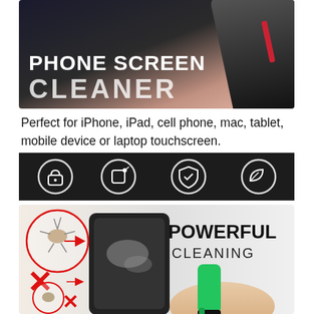[Figure (photo): Phone screen cleaner product image showing a dark smartphone on a pink/beige background with bold white text overlay reading PHONE SCREEN CLEANER]
Perfect for iPhone, iPad, cell phone, mac, tablet, mobile device or laptop touchscreen.
[Figure (infographic): Dark banner with four white circle icons representing: lock/security, screen cleaning, shield/protection, and leaf/eco-friendly]
[Figure (infographic): Product demonstration image showing red X marks with circles indicating dust/germs, a dark device being cleaned, a hand holding a green screen cleaner device, with text POWERFUL CLEANING]